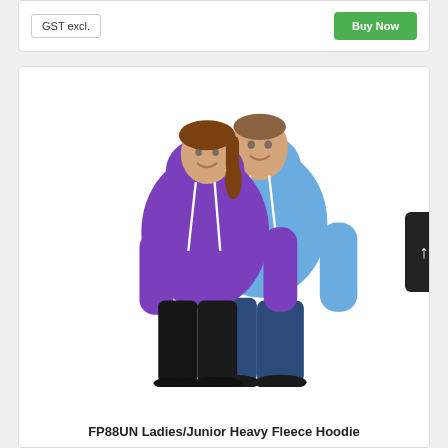GST excl.
Buy Now
[Figure (photo): A woman wearing a purple hoodie and a man wearing a light blue hoodie, both smiling, standing against a white background.]
FP88UN Ladies/Junior Heavy Fleece Hoodie